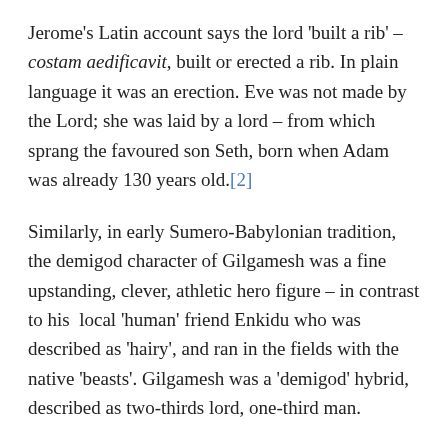Jerome's Latin account says the lord 'built a rib' – costam aedificavit, built or erected a rib. In plain language it was an erection. Eve was not made by the Lord; she was laid by a lord – from which sprang the favoured son Seth, born when Adam was already 130 years old.[2]
Similarly, in early Sumero-Babylonian tradition, the demigod character of Gilgamesh was a fine upstanding, clever, athletic hero figure – in contrast to his  local 'human' friend Enkidu who was described as 'hairy', and ran in the fields with the native 'beasts'. Gilgamesh was a 'demigod' hybrid, described as two-thirds lord, one-third man.
Around 2400-2300 BC in Sumeria, Sargon was